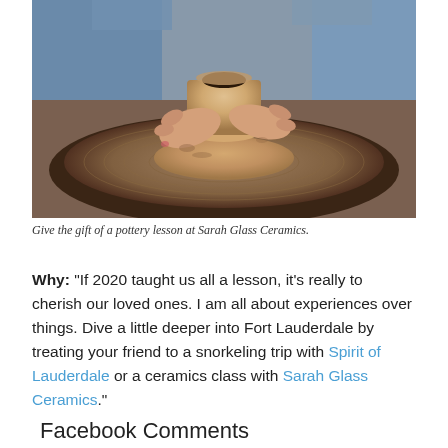[Figure (photo): Overhead view of hands shaping clay on a pottery wheel, showing a partially formed vessel with clay-covered hands and the spinning wheel below.]
Give the gift of a pottery lesson at Sarah Glass Ceramics.
Why: “If 2020 taught us all a lesson, it’s really to cherish our loved ones. I am all about experiences over things. Dive a little deeper into Fort Lauderdale by treating your friend to a snorkeling trip with Spirit of Lauderdale or a ceramics class with Sarah Glass Ceramics.”
Facebook Comments